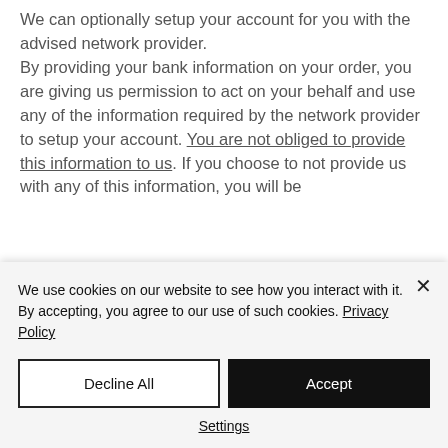We can optionally setup your account for you with the advised network provider. By providing your bank information on your order, you are giving us permission to act on your behalf and use any of the information required by the network provider to setup your account. You are not obliged to provide this information to us. If you choose to not provide us with any of this information, you will be
We use cookies on our website to see how you interact with it. By accepting, you agree to our use of such cookies. Privacy Policy
Decline All
Accept
Settings